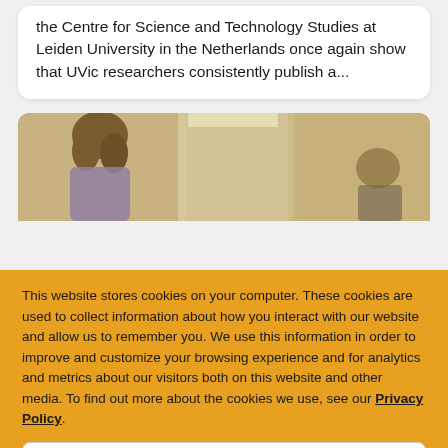the Centre for Science and Technology Studies at Leiden University in the Netherlands once again show that UVic researchers consistently publish a...
[Figure (photo): Photo of a person with long hair viewed from behind, standing near glass panels or windows in what appears to be an indoor setting.]
This website stores cookies on your computer. These cookies are used to collect information about how you interact with our website and allow us to remember you. We use this information in order to improve and customize your browsing experience and for analytics and metrics about our visitors both on this website and other media. To find out more about the cookies we use, see our Privacy Policy.
Close